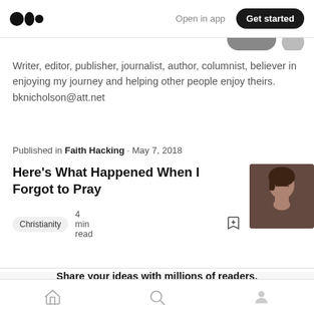Medium logo | Open in app | Get started
Writer, editor, publisher, journalist, author, columnist, believer in enjoying my journey and helping other people enjoy theirs. bknicholson@att.net
Published in Faith Hacking · May 7, 2018
Here's What Happened When I Forgot to Pray
Christianity  4 min read
Share your ideas with millions of readers.
Write on Medium
Home | Search | Profile